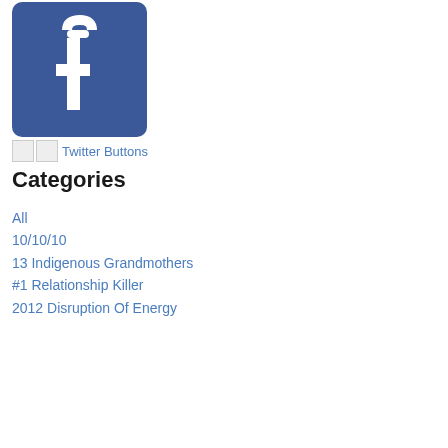[Figure (logo): Facebook logo — blue rounded rectangle with white lowercase 'f' letter]
[Figure (other): Two small broken image icons followed by 'Twitter Buttons' link text in blue]
Categories
All
10/10/10
13 Indigenous Grandmothers
#1 Relationship Killer
2012 Disruption Of Energy